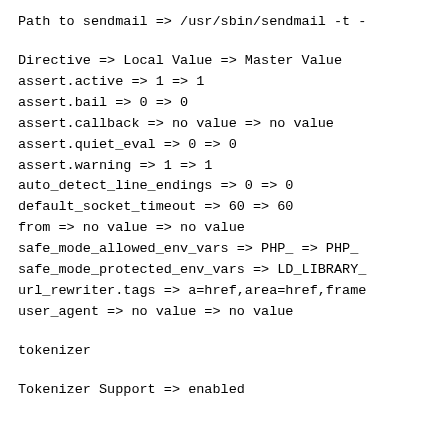Path to sendmail => /usr/sbin/sendmail -t -
Directive => Local Value => Master Value
assert.active => 1 => 1
assert.bail => 0 => 0
assert.callback => no value => no value
assert.quiet_eval => 0 => 0
assert.warning => 1 => 1
auto_detect_line_endings => 0 => 0
default_socket_timeout => 60 => 60
from => no value => no value
safe_mode_allowed_env_vars => PHP_ => PHP_
safe_mode_protected_env_vars => LD_LIBRARY_
url_rewriter.tags => a=href,area=href,frame
user_agent => no value => no value
tokenizer
Tokenizer Support => enabled